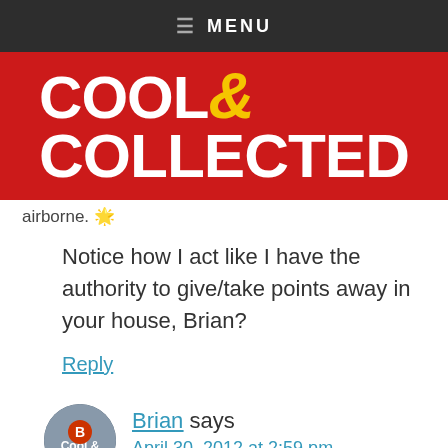≡ MENU
[Figure (logo): Cool & Collected blog logo — white bold text on red background with yellow ampersand]
airborne. 🌟
Notice how I act like I have the authority to give/take points away in your house, Brian?
Reply
Brian says
April 30, 2012 at 2:59 pm